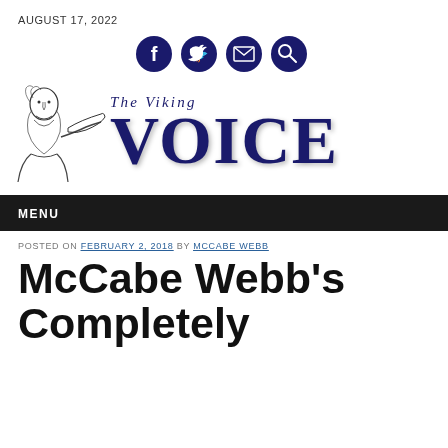AUGUST 17, 2022
[Figure (illustration): Four dark navy social media icon circles: Facebook, Twitter, Email, Search]
[Figure (logo): The Viking Voice newspaper logo with a hand-drawn viking blowing a horn on the left and the text 'THE VIKING VOICE' in large navy serif font]
MENU
POSTED ON FEBRUARY 2, 2018 BY MCCABE WEBB
McCabe Webb's Completely